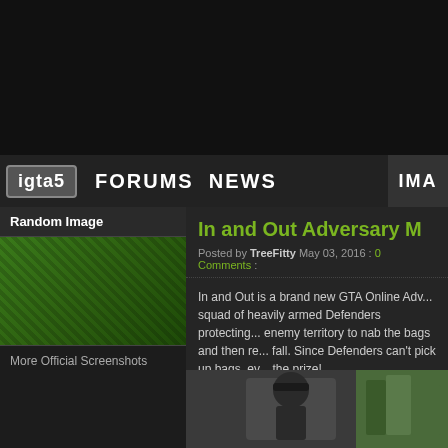[Figure (screenshot): Dark top header area of a gaming website (igta5)]
igta5  FORUMS  NEWS  IMA
Random Image
[Figure (screenshot): Green diagonal pattern image thumbnail placeholder]
More Official Screenshots
GTA 5 Media
» Official Artwork
» Official Screenshots
In and Out Adversary M
Posted by TreeFitty May 03, 2016 : 0 Comments :
In and Out is a brand new GTA Online Adv... squad of heavily armed Defenders protecting... enemy territory to nab the bags and then re... fall. Since Defenders can't pick up bags, ev... the prize!
[Figure (screenshot): Character screenshot from GTA Online - figure wearing cap]